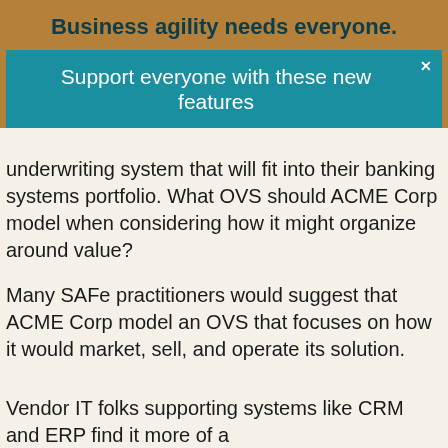Business agility needs everyone.
Support everyone with these new features
underwriting system that will fit into their banking systems portfolio. What OVS should ACME Corp model when considering how it might organize around value?
Many SAFe practitioners would suggest that ACME Corp model an OVS that focuses on how it would market, sell, and operate its solution.
Vendor IT folks supporting systems like CRM and ERP find it more of a need to model the downstream...